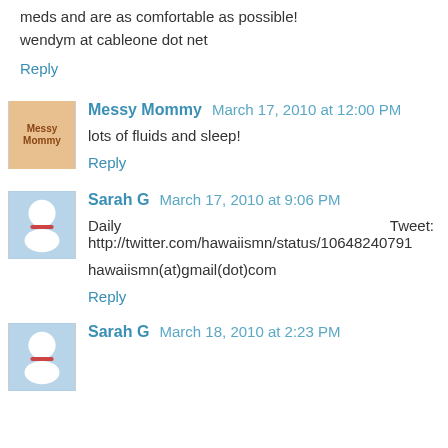meds and are as comfortable as possible!
wendym at cableone dot net
Reply
Messy Mommy  March 17, 2010 at 12:00 PM
lots of fluids and sleep!
Reply
Sarah G  March 17, 2010 at 9:06 PM
Daily    Tweet:
http://twitter.com/hawaiismn/status/10648240791
hawaiismn(at)gmail(dot)com
Reply
Sarah G  March 18, 2010 at 2:23 PM